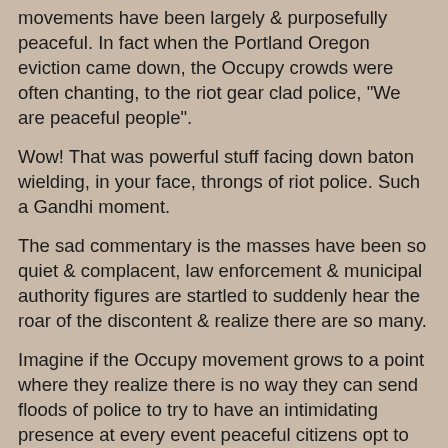movements have been largely & purposefully peaceful. In fact when the Portland Oregon eviction came down, the Occupy crowds were often chanting, to the riot gear clad police, "We are peaceful people".
Wow! That was powerful stuff facing down baton wielding, in your face, throngs of riot police. Such a Gandhi moment.
The sad commentary is the masses have been so quiet & complacent, law enforcement & municipal authority figures are startled to suddenly hear the roar of the discontent & realize there are so many.
Imagine if the Occupy movement grows to a point where they realize there is no way they can send floods of police to try to have an intimidating presence at every event peaceful citizens opt to exercise their Constitutional right to assemble freely.
I'm loving the peaceful revolution & hope the police calm down & learn this is  the new normal, and understand it is a constitutional, legal right to freely assemble.
Granted the free speech is at a roar, but it is long overdue.